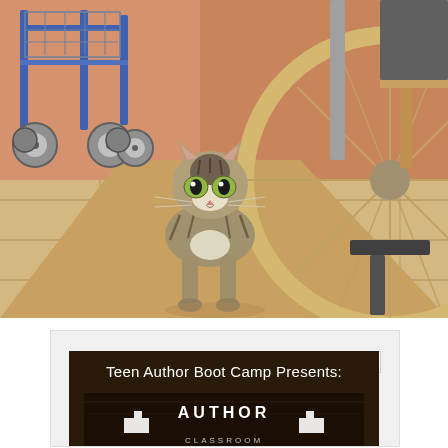[Figure (photo): A tabby cat walking on a tiled floor between a walker/rollator on the left and a wheelchair on the right in what appears to be a care facility or hospital hallway. The cat is looking directly at the camera with wide eyes.]
[Figure (photo): Advertisement banner for 'Teen Author Boot Camp Presents:' with a dark brown/wooden background and decorative logo text below. An X close button is visible in the upper right corner.]